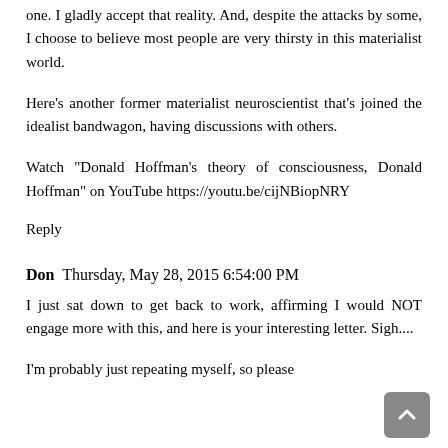one. I gladly accept that reality. And, despite the attacks by some, I choose to believe most people are very thirsty in this materialist world.
Here's another former materialist neuroscientist that's joined the idealist bandwagon, having discussions with others.
Watch "Donald Hoffman's theory of consciousness, Donald Hoffman" on YouTube https://youtu.be/cijNBiopNRY
Reply
Don  Thursday, May 28, 2015 6:54:00 PM
I just sat down to get back to work, affirming I would NOT engage more with this, and here is your interesting letter. Sigh....
I'm probably just repeating myself, so please